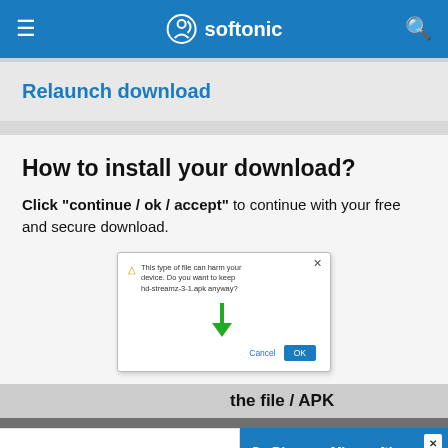softonic
Relaunch download
How to install your download?
Click "continue / ok / accept" to continue with your free and secure download.
[Figure (screenshot): Browser security warning dialog with green down arrow and OK/Cancel buttons]
the file / APK
[Figure (logo): softonic.com logo]
G - Discover Minecraft! g game of ALL TIME!
Discover now!